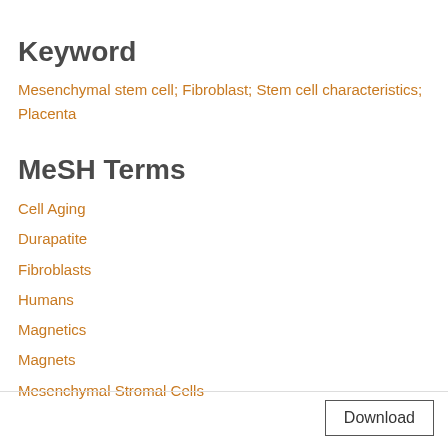Keyword
Mesenchymal stem cell; Fibroblast; Stem cell characteristics; Placenta
MeSH Terms
Cell Aging
Durapatite
Fibroblasts
Humans
Magnetics
Magnets
Mesenchymal Stromal Cells
Download